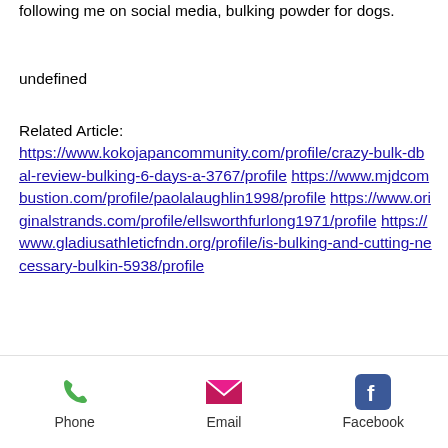following me on social media, bulking powder for dogs.
undefined
Related Article:
https://www.kokojapancommunity.com/profile/crazy-bulk-dbal-review-bulking-6-days-a-3767/profile
https://www.mjdcombustion.com/profile/paolalaughlin1998/profile
https://www.originalstrands.com/profile/ellsworthfurlong1971/profile
https://www.gladiusathleticfndn.org/profile/is-bulking-and-cutting-necessary-bulkin-5938/profile
Phone  Email  Facebook